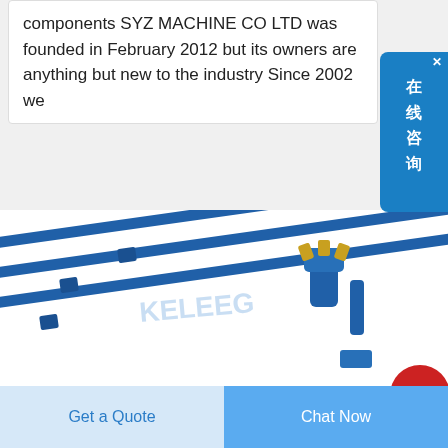components SYZ MACHINE CO LTD was founded in February 2012 but its owners are anything but new to the industry Since 2002 we
[Figure (photo): Photo of blue drilling rods/equipment components including rod tubes, drill bit with carbide inserts, and small coupling pieces on white background with watermark 'KELEEG']
Get a Quote
Chat Now